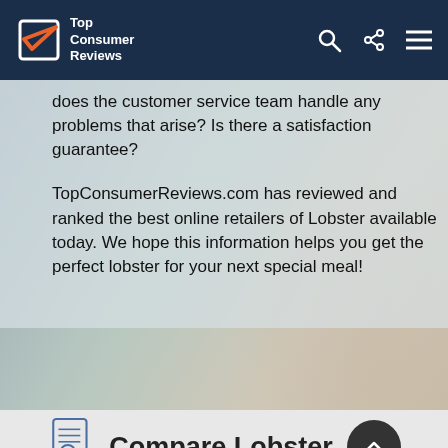Top Consumer Reviews
does the customer service team handle any problems that arise? Is there a satisfaction guarantee?
TopConsumerReviews.com has reviewed and ranked the best online retailers of Lobster available today. We hope this information helps you get the perfect lobster for your next special meal!
Compare Lobster Companies